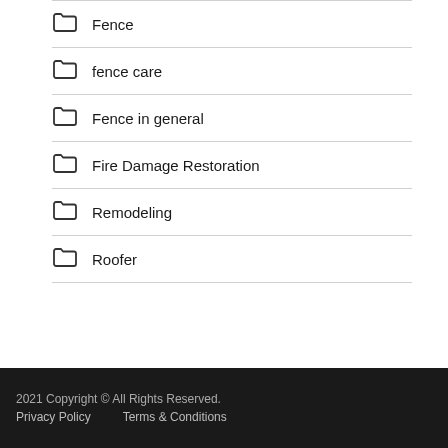Fence
fence care
Fence in general
Fire Damage Restoration
Remodeling
Roofer
2021 Copyright © All Rights Reserved.
Privacy Policy    Terms & Conditions